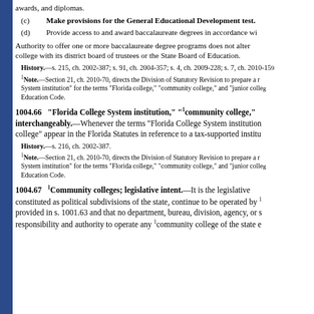awards, and diplomas.
(c)   Make provisions for the General Educational Development test.
(d)   Provide access to and award baccalaureate degrees in accordance wi...
Authority to offer one or more baccalaureate degree programs does not alter... college with its district board of trustees or the State Board of Education.
History.—s. 215, ch. 2002-387; s. 91, ch. 2004-357; s. 4, ch. 2009-228; s. 7, ch. 2010-159...
1Note.—Section 21, ch. 2010-70, directs the Division of Statutory Revision to prepare a revision... System institution" for the terms "Florida college," "community college," and "junior college"... Education Code.
1004.66  "Florida College System institution," "1community college," interchangeably.—Whenever the terms "Florida College System institution... college" appear in the Florida Statutes in reference to a tax-supported institu...
History.—s. 216, ch. 2002-387.
1Note.—Section 21, ch. 2010-70, directs the Division of Statutory Revision to prepare a r... System institution" for the terms "Florida college," "community college," and "junior colleg"... Education Code.
1004.67  1Community colleges; legislative intent.—It is the legislative... constituted as political subdivisions of the state, continue to be operated by 1... provided in s. 1001.63 and that no department, bureau, division, agency, or s... responsibility and authority to operate any 1community college of the state e...